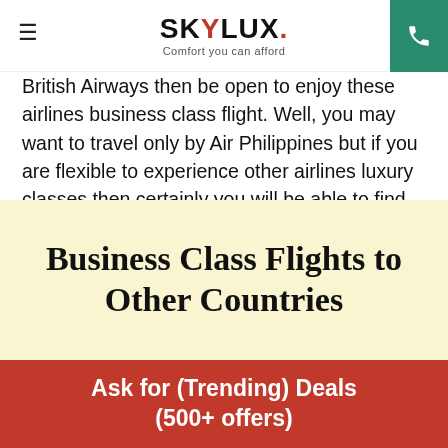SKYLUX. Comfort you can afford
British Airways then be open to enjoy these airlines business class flight. Well, you may want to travel only by Air Philippines but if you are flexible to experience other airlines luxury classes then certainly you will be able to find more cheap 1st class tickets and save a lot as well. Also, though all airlines are not the same but they offer more or less the same amenities luxurious options to make your journey comfortable and fun.
Business Class Flights to Other Countries
Ask for (Trending) Deals (500+ offers)